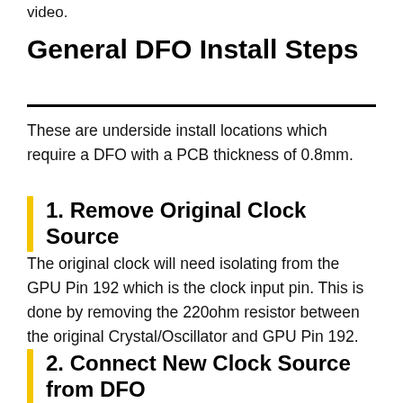video.
General DFO Install Steps
These are underside install locations which require a DFO with a PCB thickness of 0.8mm.
1. Remove Original Clock Source
The original clock will need isolating from the GPU Pin 192 which is the clock input pin. This is done by removing the 220ohm resistor between the original Crystal/Oscillator and GPU Pin 192.
2. Connect New Clock Source from DFO